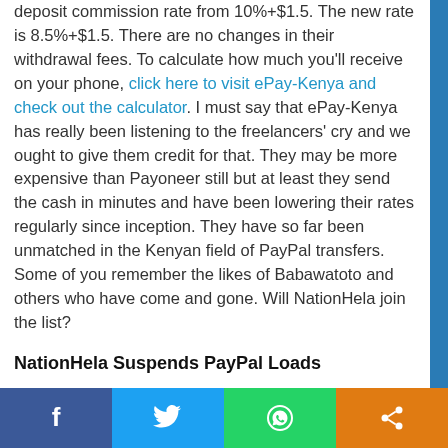deposit commission rate from 10%+$1.5. The new rate is 8.5%+$1.5. There are no changes in their withdrawal fees. To calculate how much you'll receive on your phone, click here to visit ePay-Kenya and check out the calculator. I must say that ePay-Kenya has really been listening to the freelancers' cry and we ought to give them credit for that. They may be more expensive than Payoneer still but at least they send the cash in minutes and have been lowering their rates regularly since inception. They have so far been unmatched in the Kenyan field of PayPal transfers. Some of you remember the likes of Babawatoto and others who have come and gone. Will NationHela join the list?
NationHela Suspends PayPal Loads